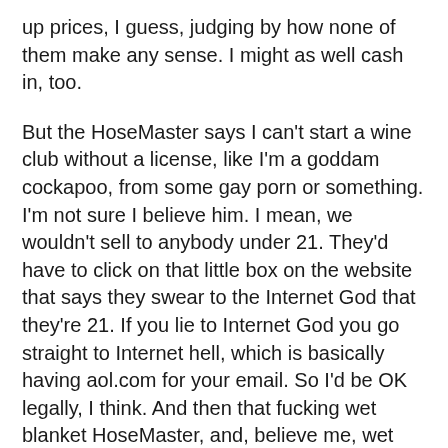up prices, I guess, judging by how none of them make any sense. I might as well cash in, too.
But the HoseMaster says I can't start a wine club without a license, like I'm a goddam cockapoo, from some gay porn or something. I'm not sure I believe him. I mean, we wouldn't sell to anybody under 21. They'd have to click on that little box on the website that says they swear to the Internet God that they're 21. If you lie to Internet God you go straight to Internet hell, which is basically having aol.com for your email. So I'd be OK legally, I think. And then that fucking wet blanket HoseMaster, and, believe me, wet blanket is right up his alley, he has more nocturnal emissions than Mauna Kea, tells me that I won't be able to ship to every state. Like I'm so stupid I'd believe that. Yeah, sure, I know Utah is out cuz the whole state is Church of the L.D.S., which stands for Let's Drink Secretly. But who cares, I can sell to everybody else.
Yeah, I know what you're thinking. How am I going to choose the wines for the “Lo Down Wine Club™?” It won't be that hard. Let's say I send out four different cases a year. That's only six whites and six reds every twelve months! I mean, I